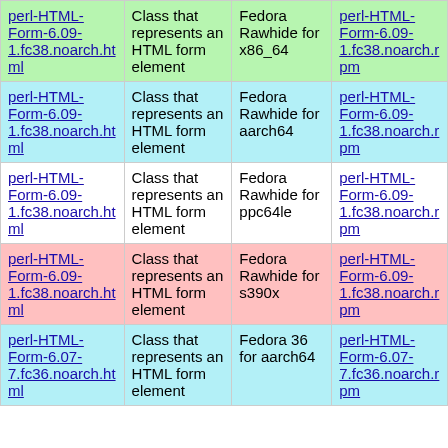| perl-HTML-Form-6.09-1.fc38.noarch.html | Class that represents an HTML form element | Fedora Rawhide for x86_64 | perl-HTML-Form-6.09-1.fc38.noarch.rpm |
| perl-HTML-Form-6.09-1.fc38.noarch.html | Class that represents an HTML form element | Fedora Rawhide for aarch64 | perl-HTML-Form-6.09-1.fc38.noarch.rpm |
| perl-HTML-Form-6.09-1.fc38.noarch.html | Class that represents an HTML form element | Fedora Rawhide for ppc64le | perl-HTML-Form-6.09-1.fc38.noarch.rpm |
| perl-HTML-Form-6.09-1.fc38.noarch.html | Class that represents an HTML form element | Fedora Rawhide for s390x | perl-HTML-Form-6.09-1.fc38.noarch.rpm |
| perl-HTML-Form-6.07-7.fc36.noarch.html | Class that represents an HTML form element | Fedora 36 for aarch64 | perl-HTML-Form-6.07-7.fc36.noarch.rpm |